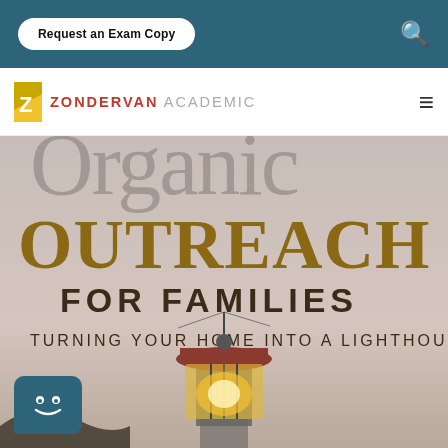Request an Exam Copy
[Figure (logo): Zondervan Academic logo with yellow Z emblem and text ZONDERVAN ACADEMIC]
[Figure (photo): Book cover of 'Organic Outreach for Families: Turning Your Home Into a Lighthouse' showing a lighthouse lantern room at dusk]